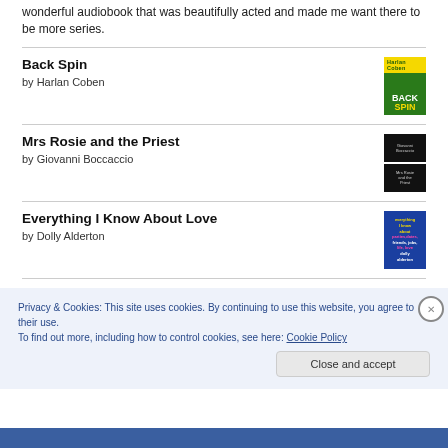wonderful audiobook that was beautifully acted and made me want there to be more series.
Back Spin
by Harlan Coben
[Figure (photo): Book cover for Back Spin by Harlan Coben - green background with yellow top band showing author name, white and yellow bold text reading BACK SPIN]
Mrs Rosie and the Priest
by Giovanni Boccaccio
[Figure (photo): Two stacked black book covers for Mrs Rosie and the Priest by Giovanni Boccaccio]
Everything I Know About Love
by Dolly Alderton
[Figure (photo): Blue book cover for Everything I Know About Love by Dolly Alderton with yellow and colorful text]
Privacy & Cookies: This site uses cookies. By continuing to use this website, you agree to their use.
To find out more, including how to control cookies, see here: Cookie Policy
Close and accept